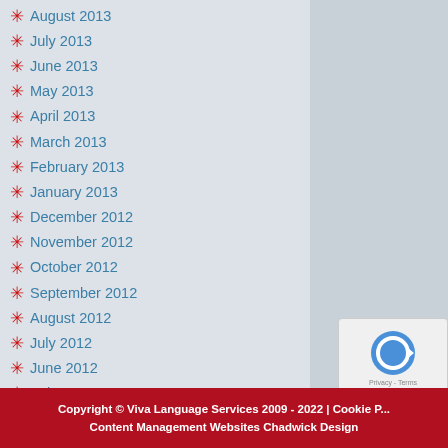August 2013
July 2013
June 2013
May 2013
April 2013
March 2013
February 2013
January 2013
December 2012
November 2012
October 2012
September 2012
August 2012
July 2012
June 2012
February 2012
January 2012
December 2011
November 2011
October 2011
September 2011
August 2011
July 2011
June 2011
Copyright © Viva Language Services 2009 - 2022 | Cookie P... Content Management Websites Chadwick Design